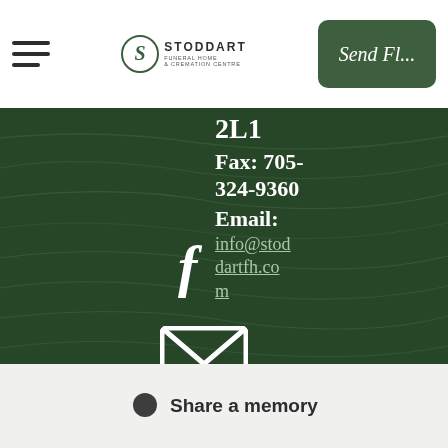Stoddart Funeral Home & Cremation Centre — navigation header with Send Flowers button
2L1
Fax: 705-324-9360
Email:
info@stoddartfh.com
[Figure (logo): Facebook icon (f) in white on dark green wood-grain background]
[Figure (logo): Email/envelope icon in white on dark green wood-grain background]
Share a memory